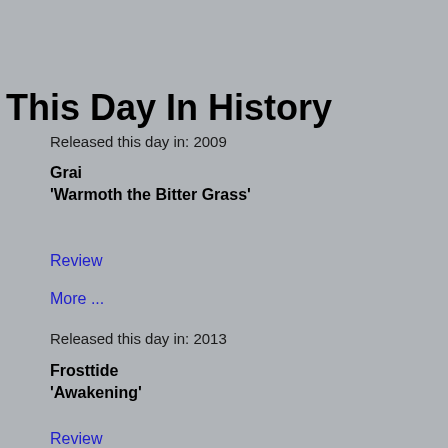This Day In History
Released this day in: 2009
Grai
'Warmoth the Bitter Grass'
Review
More ...
Released this day in: 2013
Frosttide
'Awakening'
Review